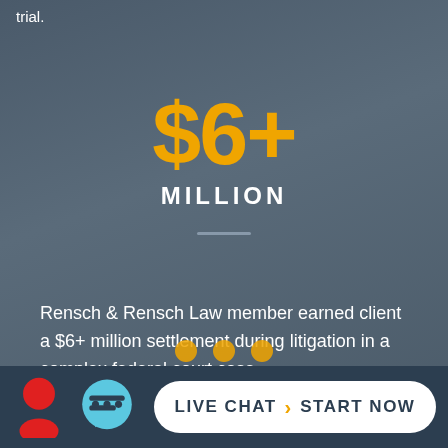trial.
$6+
MILLION
Rensch & Rensch Law member earned client a $6+ million settlement during litigation in a complex federal court case.
[Figure (infographic): Live chat bar with red person icon, light blue speech bubble icon, and a white rounded-rectangle button reading LIVE CHAT > START NOW]